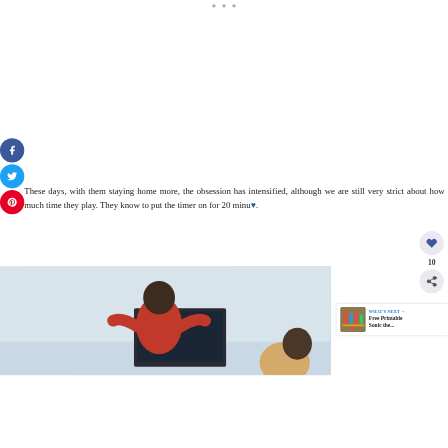[Figure (screenshot): Three small grey dots/circles near the top center of the page, likely a menu indicator]
[Figure (infographic): Social media share buttons on the left sidebar: Facebook (dark blue), Twitter (light blue), Pinterest (red), each as circular icons with logos]
These days, with them staying home more, the obsession has intensified, although we are still very strict about how much time they play. They know to put the timer on for 20 minu...
[Figure (infographic): Right-side action buttons: heart/like button with count 10, and a share button (circular grey buttons)]
[Figure (photo): Photo of a child from behind wearing a red shirt, playing video games on a TV screen, with another child partially visible]
[Figure (infographic): What's Next panel showing a thumbnail and text: 'WHAT'S NEXT → Free Printable Sonic the...']